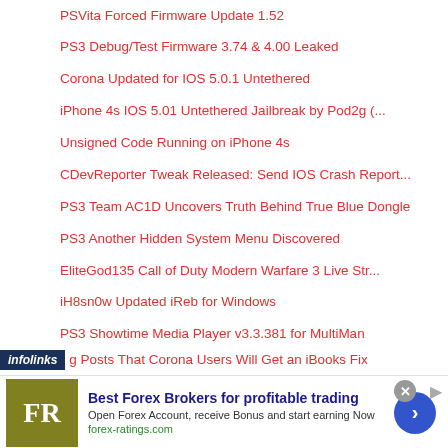PSVita Forced Firmware Update 1.52
PS3 Debug/Test Firmware 3.74 & 4.00 Leaked
Corona Updated for IOS 5.0.1 Untethered
iPhone 4s IOS 5.01 Untethered Jailbreak by Pod2g (...
Unsigned Code Running on iPhone 4s
CDevReporter Tweak Released: Send IOS Crash Report...
PS3 Team AC1D Uncovers Truth Behind True Blue Dongle
PS3 Another Hidden System Menu Discovered
EliteGod135 Call of Duty Modern Warfare 3 Live Str...
iH8sn0w Updated iReb for Windows
PS3 Showtime Media Player v3.3.381 for MultiMan
PS3 Showtime Media Player v3.4 Released
...g Posts That Corona Users Will Get an iBooks Fix
[Figure (infographic): Advertisement banner: Forex ratings ad with olive/yellow FR logo, blue text 'Best Forex Brokers for profitable trading', description text, forex-ratings.com URL, blue circular arrow button. infolinks badge in top left.]